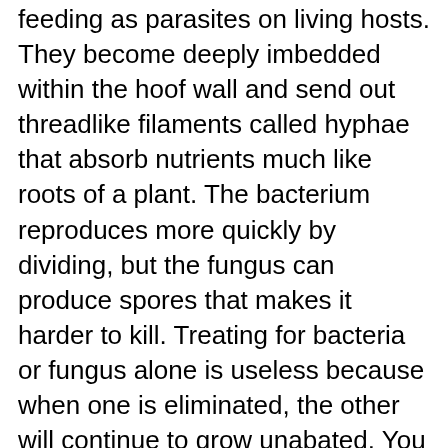feeding as parasites on living hosts. They become deeply imbedded within the hoof wall and send out threadlike filaments called hyphae that absorb nutrients much like roots of a plant. The bacterium reproduces more quickly by dividing, but the fungus can produce spores that makes it harder to kill. Treating for bacteria or fungus alone is useless because when one is eliminated, the other will continue to grow unabated. You must control both simultaneously.
These microorganisms are opportunistic in nature. That is, they ordinarily will not attack perfectly healthy hoof tissue but will enter into a small crack, nail hole, or fissure at the white line. These problems commonly occur at the stratum medium because this is where the horny laminae interlocks with the sensitive